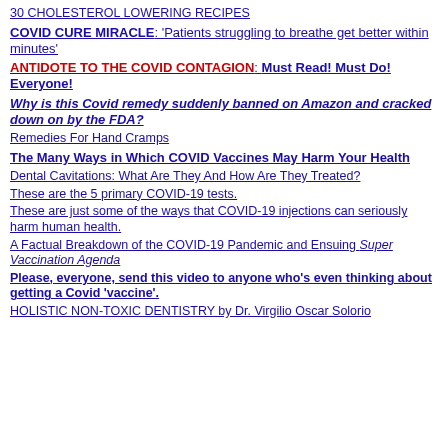30 CHOLESTEROL LOWERING RECIPES
COVID CURE MIRACLE: 'Patients struggling to breathe get better within minutes'
ANTIDOTE TO THE COVID CONTAGION: Must Read! Must Do! Everyone!
Why is this Covid remedy suddenly banned on Amazon and cracked down on by the FDA?
Remedies For Hand Cramps
The Many Ways in Which COVID Vaccines May Harm Your Health
Dental Cavitations: What Are They And How Are They Treated?
These are the 5 primary COVID-19 tests.
These are just some of the ways that COVID-19 injections can seriously harm human health.
A Factual Breakdown of the COVID-19 Pandemic and Ensuing Super Vaccination Agenda
Please, everyone, send this video to anyone who's even thinking about getting a Covid 'vaccine'.
HOLISTIC NON-TOXIC DENTISTRY by Dr. Virgilio Oscar Solorio